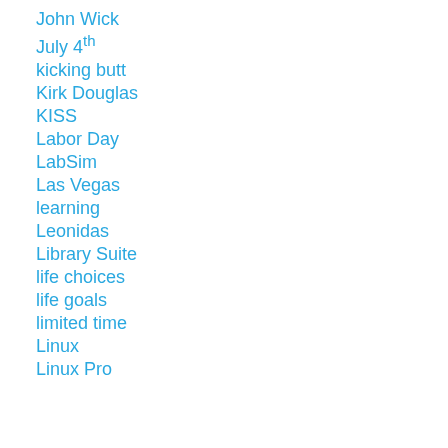John Wick
July 4th
kicking butt
Kirk Douglas
KISS
Labor Day
LabSim
Las Vegas
learning
Leonidas
Library Suite
life choices
life goals
limited time
Linux
Linux Pro